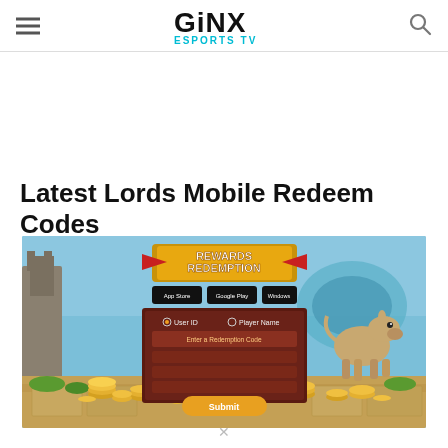GINX ESPORTS TV
Latest Lords Mobile Redeem Codes
[Figure (screenshot): Lords Mobile Rewards Redemption page screenshot showing a game interface with gold coins, a donkey character, redemption form with Submit button, and app store download buttons. Fantasy game art background with castles and trees.]